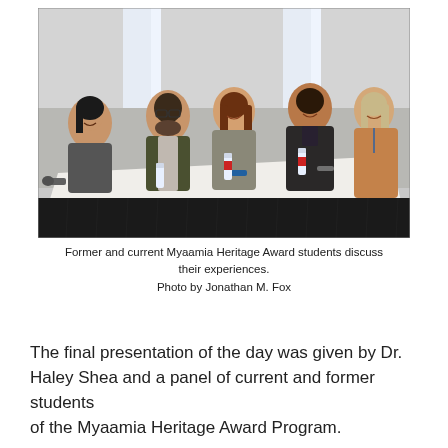[Figure (photo): Five people seated at a long draped table with microphones and water bottles, smiling at the camera in a conference room setting.]
Former and current Myaamia Heritage Award students discuss their experiences.
Photo by Jonathan M. Fox
The final presentation of the day was given by Dr. Haley Shea and a panel of current and former students of the Myaamia Heritage Award Program.